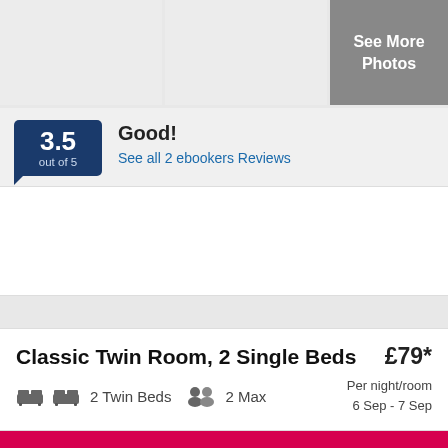[Figure (photo): Hotel photo strip with three panels: two light grey photo placeholders and one dark grey panel showing 'See More Photos' button]
3.5 out of 5 · Good! · See all 2 ebookers Reviews
[Figure (other): Advertisement or map placeholder area (white rectangle)]
Classic Twin Room, 2 Single Beds · £79* · Per night/room · 6 Sep - 7 Sep · 2 Twin Beds · 2 Max
CHECK AVAILABILITY